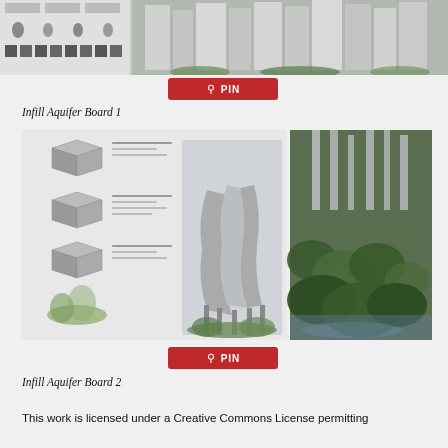[Figure (illustration): Architectural design board showing building diagrams and renderings of tall city buildings with greenery]
[Figure (other): Red Pinterest PIN button]
Infill Aquifer Board 1
[Figure (illustration): Architectural design board 2 showing parametric building diagrams, sections, and photorealistic rendering with lush greenery]
[Figure (other): Red Pinterest PIN button]
Infill Aquifer Board 2
This work is licensed under a Creative Commons License permitting